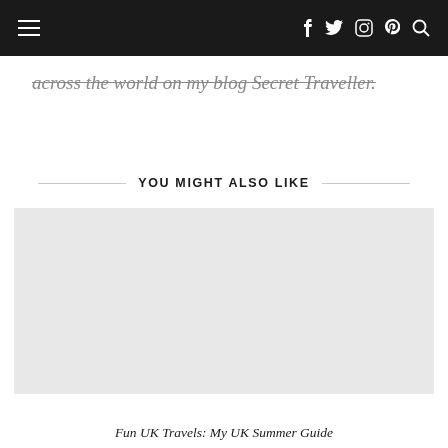Navigation bar with hamburger menu and social icons: f, twitter, instagram, pinterest, search
across the world on my blog Secret Traveller.
YOU MIGHT ALSO LIKE
[Figure (photo): Placeholder image area for a related article card]
Fun UK Travels: My UK Summer Guide